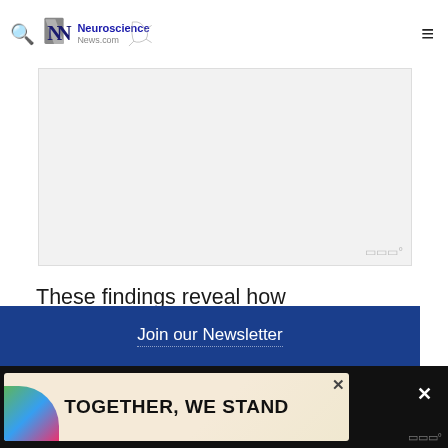Neuroscience News.com
[Figure (other): Advertisement banner placeholder (gray box with watermark)]
These findings reveal how representations of evaluative signals can be both abstract and task-specific and suggest a neuronal mechanism for estimating control demand.
[Figure (other): Join our Newsletter section with dark blue background]
[Figure (other): Bottom advertisement banner: TOGETHER, WE STAND with colorful design on dark background]